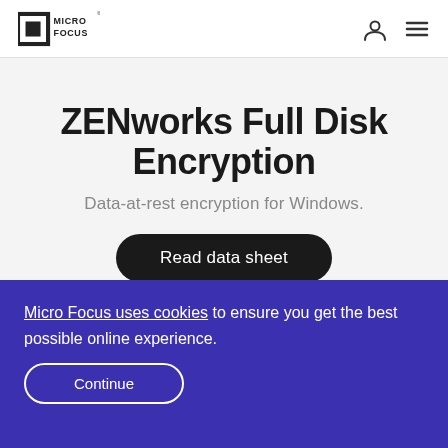Micro Focus logo, user icon, menu icon
ZENworks Full Disk Encryption
Data-at-rest encryption for Windows.
Read data sheet
Micro Focus uses cookies to ensure you get the best possible online experience.
Continue